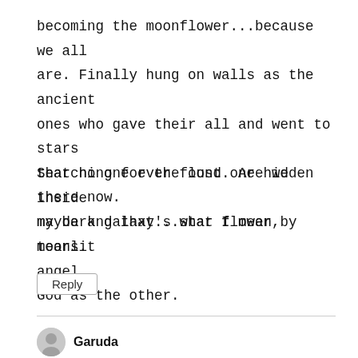becoming the moonflower...because we all are. Finally hung on walls as the ancient ones who gave their all and went to stars that no one ever found. Are we there now. maybe and that's what I mean by tears.
Searching for the lost one hidden inside my dark galaxy...star flower, moonlit angel.
God as the other.
Reply
Garuda